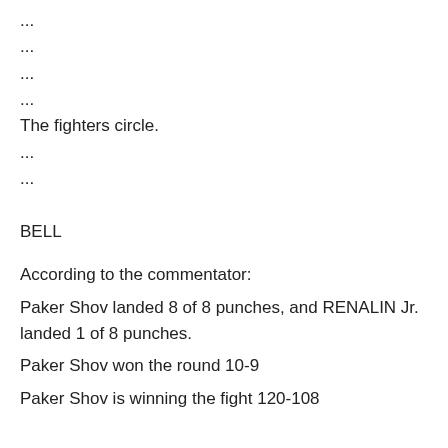...
...
...
...
The fighters circle.
...
...
BELL
According to the commentator:
Paker Shov landed 8 of 8 punches, and RENALIN Jr. landed 1 of 8 punches.
Paker Shov won the round 10-9
Paker Shov is winning the fight 120-108